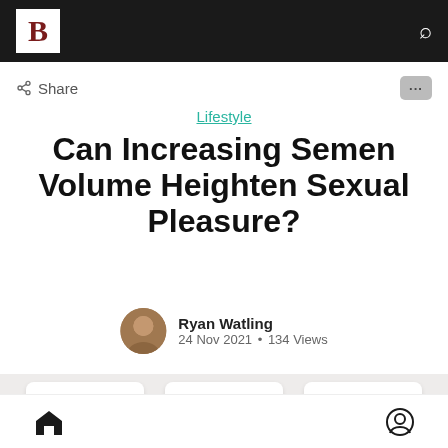B [logo] [search icon]
< Share
Lifestyle
Can Increasing Semen Volume Heighten Sexual Pleasure?
Ryan Watling
24 Nov 2021 • 134 Views
[Figure (photo): Product image strip showing three white/silver supplement or product containers on a light gray background]
[home icon] [user icon]